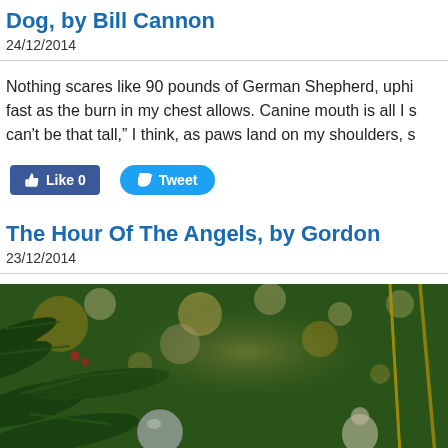Dog, by Bill Cannon
24/12/2014
Nothing scares like 90 pounds of German Shepherd, uphill as fast as the burn in my chest allows. Canine mouth is all I s can't be that tall," I think, as paws land on my shoulders, s
[Figure (other): Facebook Like button (0 likes) and Twitter Tweet button]
The Hour Of The Angels, by Gordon
23/12/2014
[Figure (photo): Close-up photo of a Christmas tree with ornaments, bokeh lights, angel decorations, pine needles visible]